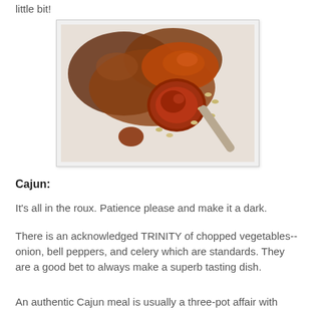little bit!
[Figure (photo): Close-up photo of a spoon holding a piece of sausage covered in a dark roux-based Cajun sauce with beans, placed on a white plate.]
Cajun:
It's all in the roux. Patience please and make it a dark.
There is an acknowledged TRINITY of chopped vegetables--onion, bell peppers, and celery which are standards. They are a good bet to always make a superb tasting dish.
An authentic Cajun meal is usually a three-pot affair with